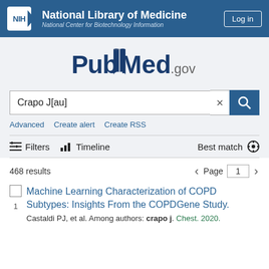NIH National Library of Medicine National Center for Biotechnology Information | Log in
[Figure (logo): PubMed.gov logo with stylized book icon]
Crapo J[au]
Advanced   Create alert   Create RSS
Filters   Timeline   Best match
468 results   Page 1
Machine Learning Characterization of COPD Subtypes: Insights From the COPDGene Study.
Castaldi PJ, et al. Among authors: crapo j. Chest. 2020.